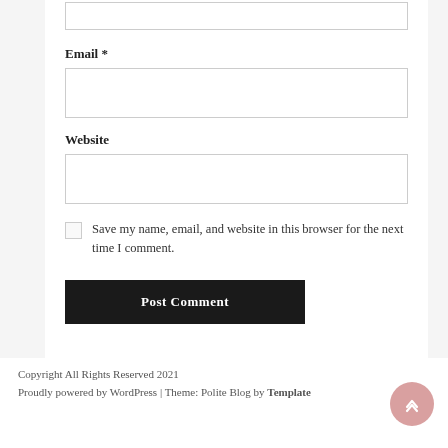[Figure (screenshot): Partial form field at top of page (input box)]
Email *
[Figure (screenshot): Email input text field]
Website
[Figure (screenshot): Website input text field]
Save my name, email, and website in this browser for the next time I comment.
[Figure (screenshot): Post Comment button (dark background, white text)]
Copyright All Rights Reserved 2021
Proudly powered by WordPress | Theme: Polite Blog by Template